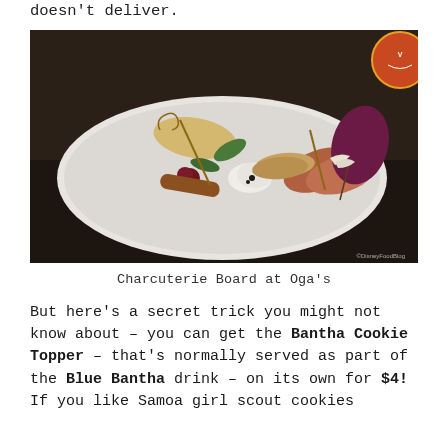doesn't deliver.
[Figure (photo): A charcuterie board at Oga's with various meats, vegetables, sauces, and garnishes on a white plate, photographed in a dark restaurant setting. A decorative circular sign is visible in the background upper right. Watermark: DisneyFoodBlog]
Charcuterie Board at Oga's
But here's a secret trick you might not know about – you can get the Bantha Cookie Topper – that's normally served as part of the Blue Bantha drink – on its own for $4! If you like Samoa girl scout cookies